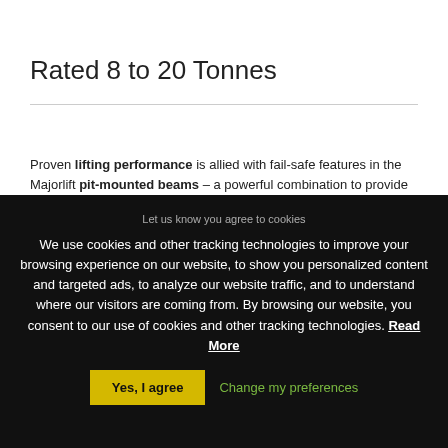Rated 8 to 20 Tonnes
Proven lifting performance is allied with fail-safe features in the Majorlift pit-mounted beams – a powerful combination to provide
Let us know you agree to cookies
We use cookies and other tracking technologies to improve your browsing experience on our website, to show you personalized content and targeted ads, to analyze our website traffic, and to understand where our visitors are coming from. By browsing our website, you consent to our use of cookies and other tracking technologies. Read More
Yes, I agree
Change my preferences